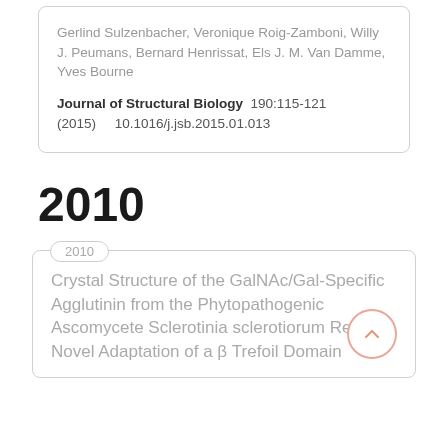Gerlind Sulzenbacher, Veronique Roig-Zamboni, Willy J. Peumans, Bernard Henrissat, Els J. M. Van Damme, Yves Bourne
Journal of Structural Biology 190:115-121 (2015) 10.1016/j.jsb.2015.01.013
2010
2010
Crystal Structure of the GalNAc/Gal-Specific Agglutinin from the Phytopathogenic Ascomycete Sclerotinia sclerotiorum Reveals Novel Adaptation of a β Trefoil Domain...